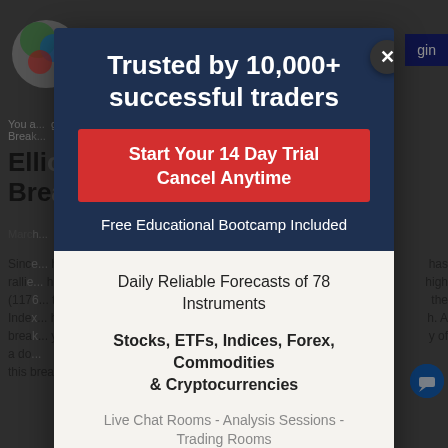[Figure (screenshot): Background website page with logo, navigation, article title about Elliott Wave breakout, and body text, dimmed behind modal overlay]
Trusted by 10,000+ successful traders
Start Your 14 Day Trial
Cancel Anytime
Free Educational Bootcamp Included
Daily Reliable Forecasts of 78 Instruments
Stocks, ETFs, Indices, Forex, Commodities & Cryptocurrencies
Live Chat Rooms - Analysis Sessions - Trading Rooms